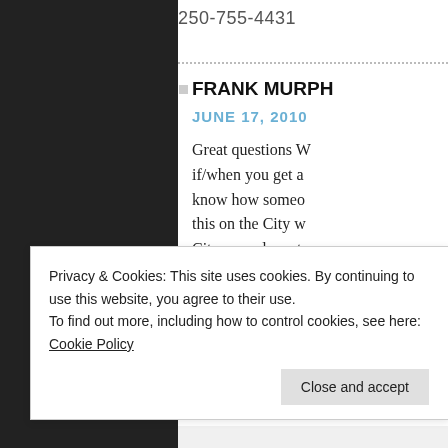250-755-4431
FRANK MURPHY
JUNE 17, 2010
Great questions W if/when you get a know how someo this on the City w City owned assets term financing is s revisit NanaimoM (http://maps.nana )for what might b of the puzzle
Privacy & Cookies: This site uses cookies. By continuing to use this website, you agree to their use. To find out more, including how to control cookies, see here: Cookie Policy
Close and accept